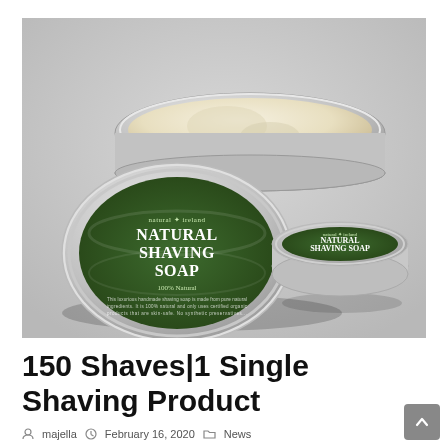[Figure (photo): Photo of two round metal tins of Natural Ireland Natural Shaving Soap (100% Natural) on a light grey surface. One tin is open showing a white/cream soap inside, with its green-labeled lid leaning against it. A second smaller closed tin is to the right showing the same green label.]
150 Shaves|1 Single Shaving Product
majella   February 16, 2020   News